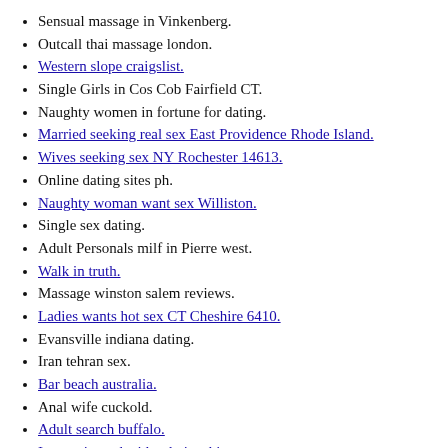Sensual massage in Vinkenberg.
Outcall thai massage london.
Western slope craigslist.
Single Girls in Cos Cob Fairfield CT.
Naughty women in fortune for dating.
Married seeking real sex East Providence Rhode Island.
Wives seeking sex NY Rochester 14613.
Online dating sites ph.
Naughty woman want sex Williston.
Single sex dating.
Adult Personals milf in Pierre west.
Walk in truth.
Massage winston salem reviews.
Ladies wants hot sex CT Cheshire 6410.
Evansville indiana dating.
Iran tehran sex.
Bar beach australia.
Anal wife cuckold.
Adult search buffalo.
Inexperienced with relationships.
Beautiful couples want sex encounter Maryland.
Hook up at party.
38 places in "Australia"